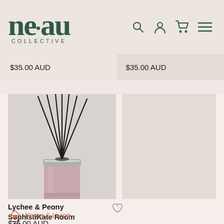ne.au COLLECTIVE
$35.00 AUD   $35.00 AUD
[Figure (photo): Reed diffuser with black sticks in a pink/rose glass bottle with silver collar, photographed against a light grey background]
Lychee & Peony SophistiKate Room Diffuser
Home & Living
$35.00 AUD